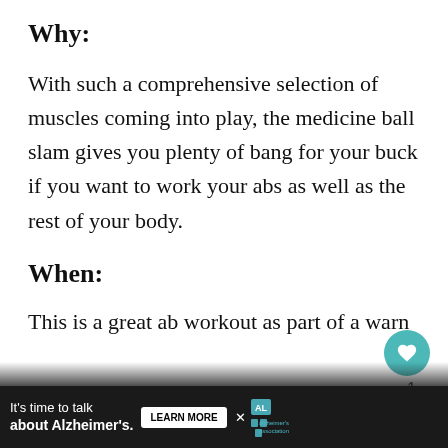Why:
With such a comprehensive selection of muscles coming into play, the medicine ball slam gives you plenty of bang for your buck if you want to work your abs as well as the rest of your body.
When:
This is a great ab workout as part of a warm-up... or as
[Figure (other): Advertisement banner for Alzheimer's Association: 'It's time to talk about Alzheimer's.' with Learn More button and logo]